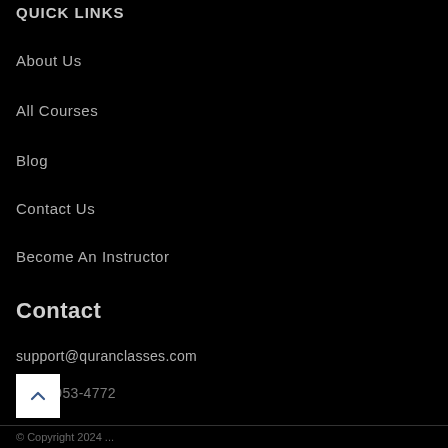QUICK LINKS
About Us
All Courses
Blog
Contact Us
Become An Instructor
Contact
support@quranclasses.com
(855) 953-4772
© Copyright 2024 ...